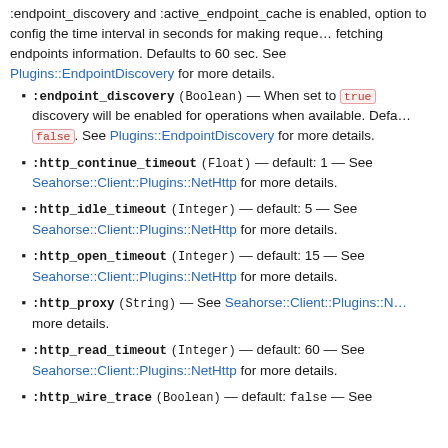:endpoint_discovery and :active_endpoint_cache is enabled, option to config the time interval in seconds for making requests fetching endpoints information. Defaults to 60 sec. See Plugins::EndpointDiscovery for more details.
:endpoint_discovery (Boolean) — When set to true discovery will be enabled for operations when available. Defaults to false. See Plugins::EndpointDiscovery for more details.
:http_continue_timeout (Float) — default: 1 — See Seahorse::Client::Plugins::NetHttp for more details.
:http_idle_timeout (Integer) — default: 5 — See Seahorse::Client::Plugins::NetHttp for more details.
:http_open_timeout (Integer) — default: 15 — See Seahorse::Client::Plugins::NetHttp for more details.
:http_proxy (String) — See Seahorse::Client::Plugins::NetHttp more details.
:http_read_timeout (Integer) — default: 60 — See Seahorse::Client::Plugins::NetHttp for more details.
:http_wire_trace (Boolean) — default: false — See